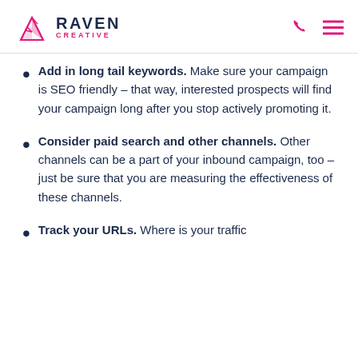[Figure (logo): Raven Creative logo with origami bird icon in pink, brand name RAVEN in dark navy, CREATIVE in pink below]
Add in long tail keywords. Make sure your campaign is SEO friendly – that way, interested prospects will find your campaign long after you stop actively promoting it.
Consider paid search and other channels. Other channels can be a part of your inbound campaign, too – just be sure that you are measuring the effectiveness of these channels.
Track your URLs. Where is your traffic